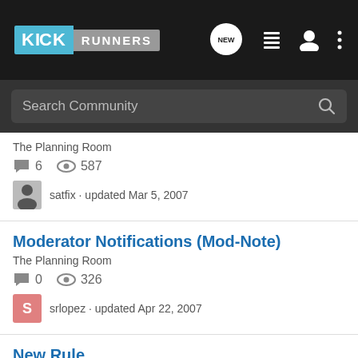[Figure (screenshot): KickRunners community forum navigation bar with logo, new message icon, list icon, user icon, and more options icon]
Search Community
The Planning Room
6   587
satfix · updated Mar 5, 2007
Moderator Notifications (Mod-Note)
The Planning Room
0   326
srlopez · updated Apr 22, 2007
New Rule
The PostRace Tent